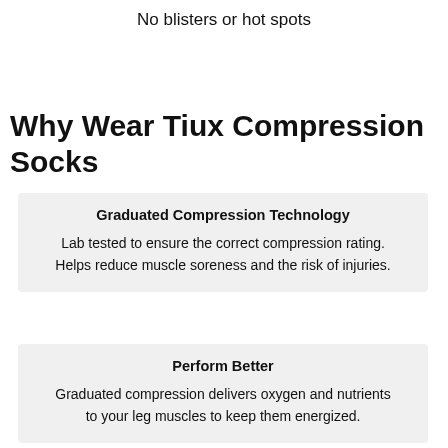No blisters or hot spots
Why Wear Tiux Compression Socks
Graduated Compression Technology
Lab tested to ensure the correct compression rating. Helps reduce muscle soreness and the risk of injuries.
Perform Better
Graduated compression delivers oxygen and nutrients to your leg muscles to keep them energized.